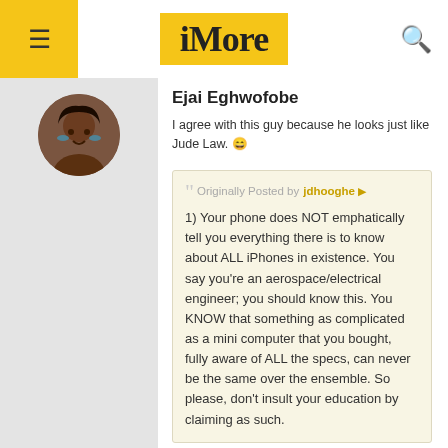iMore
Ejai Eghwofobe
I agree with this guy because he looks just like Jude Law. 😄
Originally Posted by jdhooghe ▶ 1) Your phone does NOT emphatically tell you everything there is to know about ALL iPhones in existence. You say you're an aerospace/electrical engineer; you should know this. You KNOW that something as complicated as a mini computer that you bought, fully aware of ALL the specs, can never be the same over the ensemble. So please, don't insult your education by claiming as such.